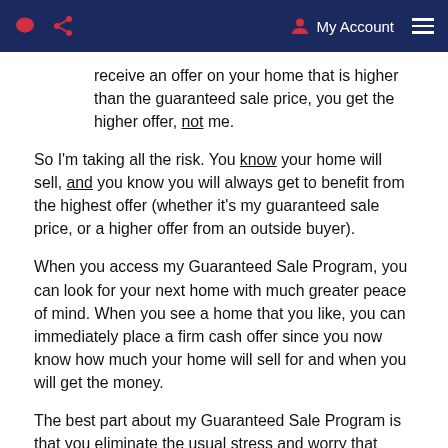My Account
receive an offer on your home that is higher than the guaranteed sale price, you get the higher offer, not me.
So I'm taking all the risk. You know your home will sell, and you know you will always get to benefit from the highest offer (whether it's my guaranteed sale price, or a higher offer from an outside buyer).
When you access my Guaranteed Sale Program, you can look for your next home with much greater peace of mind. When you see a home that you like, you can immediately place a firm cash offer since you now know how much your home will sell for and when you will get the money.
The best part about my Guaranteed Sale Program is that you eliminate the usual stress and worry that most homesellers have: no conditional offers, no emotional roller coaster, no chance of getting stuck owning two homes. My Guaranteed